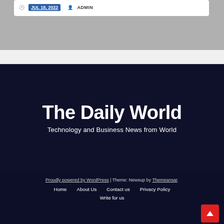JUL 18, 2022  ADMIN
The Daily World
Technology and Business News from World
Proudly powered by WordPress | Theme: Newsup by Themeansar.
Home   About Us   Contact us   Privacy Policy
Write for us